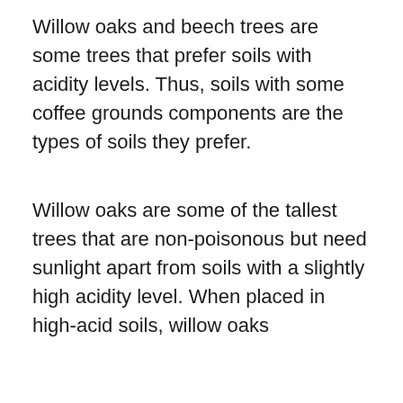Willow oaks and beech trees are some trees that prefer soils with acidity levels. Thus, soils with some coffee grounds components are the types of soils they prefer.
Willow oaks are some of the tallest trees that are non-poisonous but need sunlight apart from soils with a slightly high acidity level. When placed in high-acid soils, willow oaks